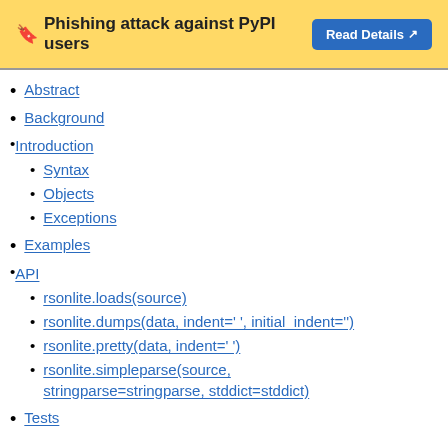🔖 Phishing attack against PyPI users
Abstract
Background
Introduction
Syntax
Objects
Exceptions
Examples
API
rsonlite.loads(source)
rsonlite.dumps(data, indent=' ', initial_indent='')
rsonlite.pretty(data, indent=' ')
rsonlite.simpleparse(source, stringparse=stringparse, stddict=stddict)
Tests